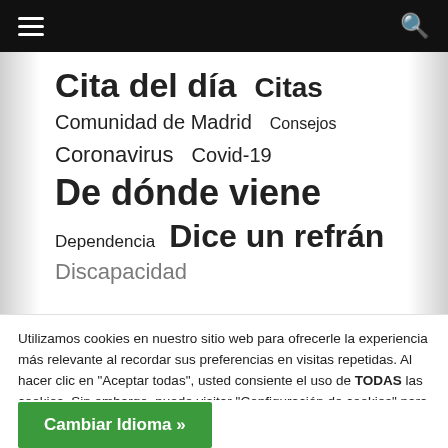Navigation bar with hamburger menu and search icon
Cita del día  Citas
Comunidad de Madrid  Consejos
Coronavirus  Covid-19
De dónde viene
Dependencia  Dice un refrán
Discapacidad
Utilizamos cookies en nuestro sitio web para ofrecerle la experiencia más relevante al recordar sus preferencias en visitas repetidas. Al hacer clic en "Aceptar todas", usted consiente el uso de TODAS las cookies. Sin embargo, puede visitar "Configuración de cookies" para dar un consentimiento más controlado.
Configuración de cookies
Aceptar todas
Cambiar Idioma »